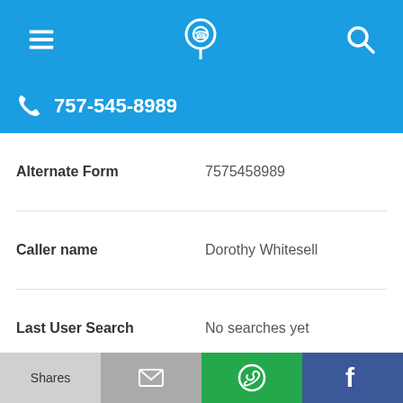Navigation bar with menu, phone/location icon, and search icon
757-545-8989
Alternate Form: 7575458989
Caller name: Dorothy Whitesell
Last User Search: No searches yet
Comments: 0
757-545-8204
Alternate Form: 7575458204
Shares | Email | WhatsApp | Facebook